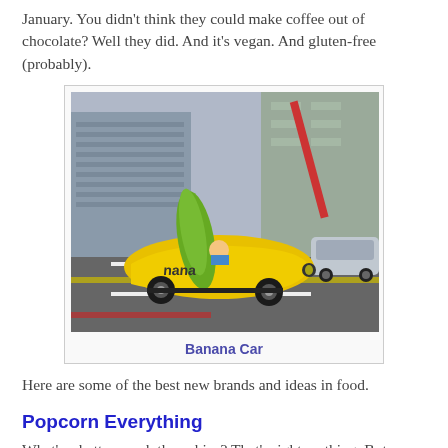January. You didn't think they could make coffee out of chocolate? Well they did. And it's vegan. And gluten-free (probably).
[Figure (photo): A yellow banana-shaped car driving on a city street intersection, with tall buildings and construction in the background. The car is branded with 'nana' text on its side.]
Banana Car
Here are some of the best new brands and ideas in food.
Popcorn Everything
What's a better snack than chips? That's right, nothing. But popcorn is pretty close. With half the fat and calories, the